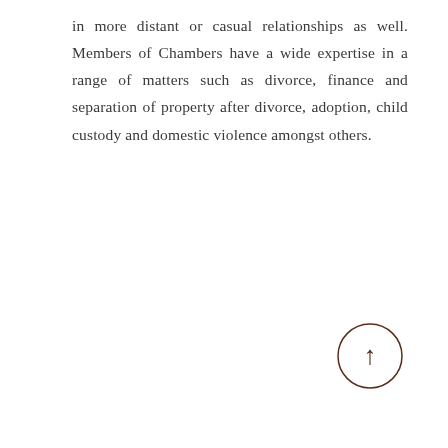in more distant or casual relationships as well. Members of Chambers have a wide expertise in a range of matters such as divorce, finance and separation of property after divorce, adoption, child custody and domestic violence amongst others.
[Figure (other): A circular back-to-top button with an upward arrow icon, rendered in a dark brownish color with a thin circle border.]